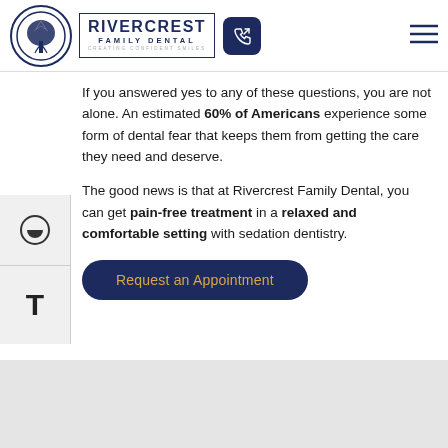[Figure (logo): Rivercrest Family Dental logo with tree emblem in circle and brand name in rectangular border]
If you answered yes to any of these questions, you are not alone. An estimated 60% of Americans experience some form of dental fear that keeps them from getting the care they need and deserve.
The good news is that at Rivercrest Family Dental, you can get pain-free treatment in a relaxed and comfortable setting with sedation dentistry.
Request an Appointment